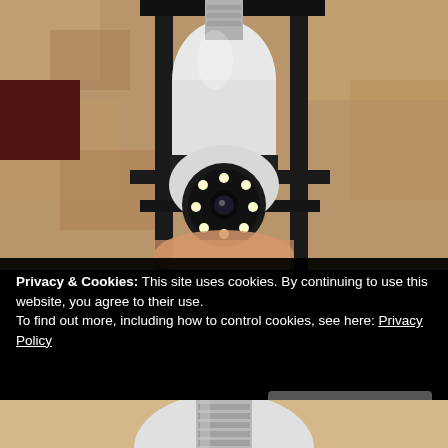[Figure (photo): A white smart security camera shaped like a light bulb screwed into an outdoor lantern-style wall fixture mounted on a textured stucco wall. The camera has a rotating black head with LED lights and a lens, and the device's base screws into a standard light bulb socket inside the black metal lantern frame.]
Privacy & Cookies: This site uses cookies. By continuing to use this website, you agree to their use.
To find out more, including how to control cookies, see here: Privacy Policy
[Figure (photo): Partial view of a light bulb base (silver threaded E26 screw base) of a bulb-shaped smart camera device against a warm beige background.]